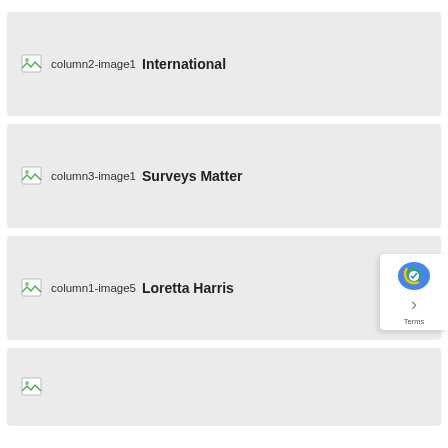[Figure (screenshot): Card row showing broken image icon labeled 'column2-image1' and bold text 'International']
[Figure (screenshot): Card row showing broken image icon labeled 'column3-image1' and bold text 'Surveys Matter']
[Figure (screenshot): Card row showing broken image icon labeled 'column1-image5' and bold text 'Loretta Harris']
[Figure (screenshot): Partial card row showing broken image icon at bottom of page, partially cut off]
[Figure (screenshot): reCAPTCHA overlay widget in bottom-right corner]